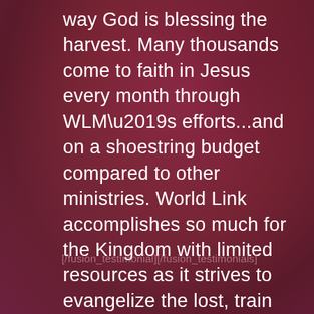way God is blessing the harvest. Many thousands come to faith in Jesus every month through WLM’s efforts…and on a shoestring budget compared to other ministries. World Link accomplishes so much for the Kingdom with limited resources as it strives to evangelize the lost, train leaders and plant churches throughout the world.
[/fusion_testimonial][/fusion_testimonials]